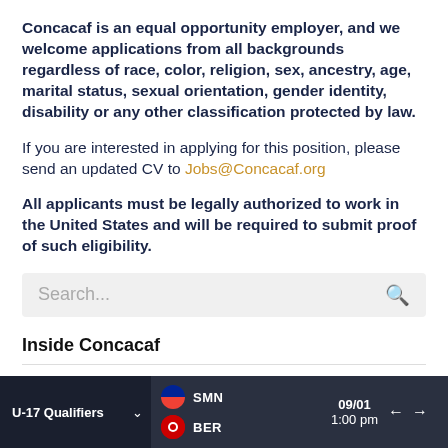Concacaf is an equal opportunity employer, and we welcome applications from all backgrounds regardless of race, color, religion, sex, ancestry, age, marital status, sexual orientation, gender identity, disability or any other classification protected by law.
If you are interested in applying for this position, please send an updated CV to Jobs@Concacaf.org
All applicants must be legally authorized to work in the United States and will be required to submit proof of such eligibility.
Search...
Inside Concacaf
About Concacaf
U-17 Qualifiers  SMN  BER  09/01  1:00 pm